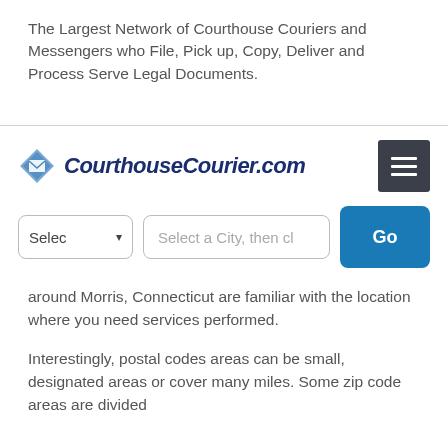The Largest Network of Courthouse Couriers and Messengers who File, Pick up, Copy, Deliver and Process Serve Legal Documents.
[Figure (logo): CourthouseCourier.com logo with blue diamond/envelope icon and italic bold dark blue text]
[Figure (screenshot): Navigation hamburger menu button (dark grey square with three white horizontal lines)]
[Figure (screenshot): Search interface with state dropdown 'Selec', city text input 'Select a City, then cl', and a blue 'Go' button]
around Morris, Connecticut are familiar with the location where you need services performed.
Interestingly, postal codes areas can be small, designated areas or cover many miles. Some zip code areas are divided